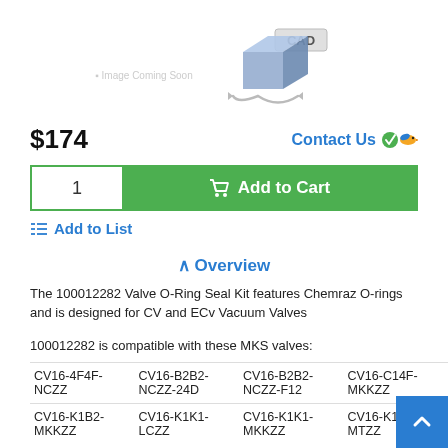[Figure (illustration): CAD download icon (3D blue cube with 'CAD' label and arrows indicating download), alongside a faint image placeholder text]
$174
Contact Us
Add to Cart
Add to List
^ Overview
The 100012282 Valve O-Ring Seal Kit features Chemraz O-rings and is designed for CV and ECv Vacuum Valves
100012282 is compatible with these MKS valves:
| CV16-4F4F-NCZZ | CV16-B2B2-NCZZ-24D | CV16-B2B2-NCZZ-F12 | CV16-C14F-MKKZZ |
| CV16-K1B2-MKKZZ | CV16-K1K1-LCZZ | CV16-K1K1-MKKZZ | CV16-K1K1-MTZZ |